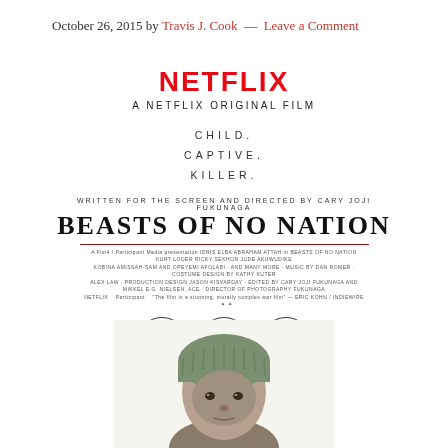October 26, 2015 by Travis J. Cook — Leave a Comment
[Figure (illustration): Movie poster for 'Beasts of No Nation' - Netflix original film. Shows Netflix logo in red, tagline words CHILD. CAPTIVE. KILLER., film title in large serif font, credits block, festival laurels for Venice, Telluride, and Toronto, and a partial portrait of a child soldier at the bottom.]